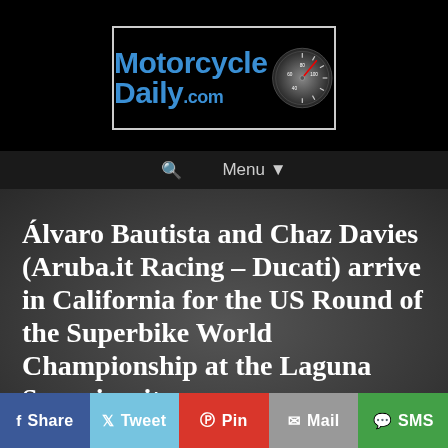[Figure (logo): MotorcycleDaily.com logo with speedometer graphic on black background]
🔍  Menu ▾
Álvaro Bautista and Chaz Davies (Aruba.it Racing – Ducati) arrive in California for the US Round of the Superbike World Championship at the Laguna Seca circuit
July 9, 2019 • By MD Staff
f Share
🐦 Tweet
📌 Pin
✉ Mail
💬 SMS